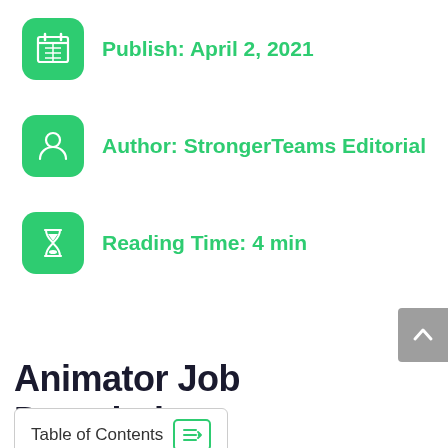Publish: April 2, 2021
Author: StrongerTeams Editorial
Reading Time: 4 min
Animator Job Description
Table of Contents